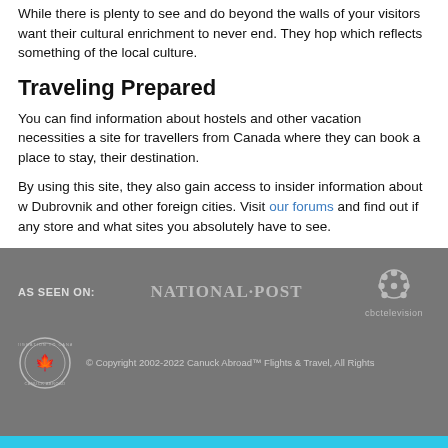While there is plenty to see and do beyond the walls of your visitors want their cultural enrichment to never end. They hop which reflects something of the local culture.
Traveling Prepared
You can find information about hostels and other vacation necessities a site for travellers from Canada where they can book a place to stay, their destination.
By using this site, they also gain access to insider information about w Dubrovnik and other foreign cities. Visit our forums and find out if any store and what sites you absolutely have to see.
AS SEEN ON: NATIONAL·POST  cbctelevision  © Copyright 2002-2022 Canuck Abroad™ Flights & Travel, All Rights